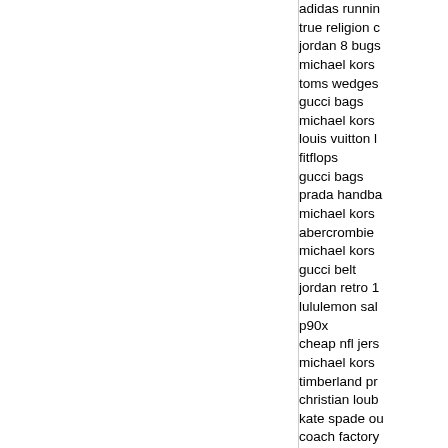adidas running
true religion c
jordan 8 bugs
michael kors
toms wedges
gucci bags
michael kors
louis vuitton b
fitflops
gucci bags
prada handba
michael kors
abercrombie
michael kors
gucci belt
jordan retro 1
lululemon sal
p90x
cheap nfl jers
michael kors
timberland pr
christian loub
kate spade ou
coach factory
christian loub
chanel handb
cheap jerseys
as